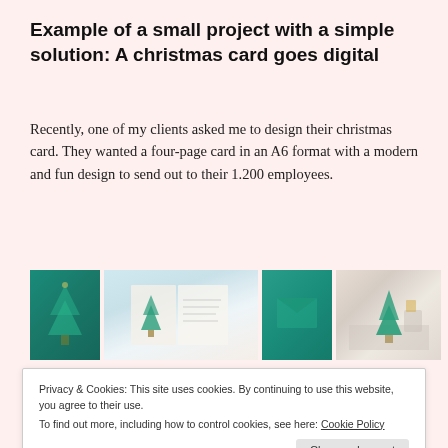Example of a small project with a simple solution: A christmas card goes digital
Recently, one of my clients asked me to design their christmas card. They wanted a four-page card in an A6 format with a modern and fun design to send out to their 1.200 employees.
[Figure (photo): Four images showing christmas cards and envelopes with teal and green geometric tree designs]
Privacy & Cookies: This site uses cookies. By continuing to use this website, you agree to their use.
To find out more, including how to control cookies, see here: Cookie Policy